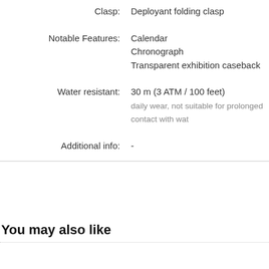Clasp: Deployant folding clasp
Notable Features: Calendar
Chronograph
Transparent exhibition caseback
Water resistant: 30 m (3 ATM / 100 feet)
daily wear, not suitable for prolonged contact with water
Additional info: -
You may also like